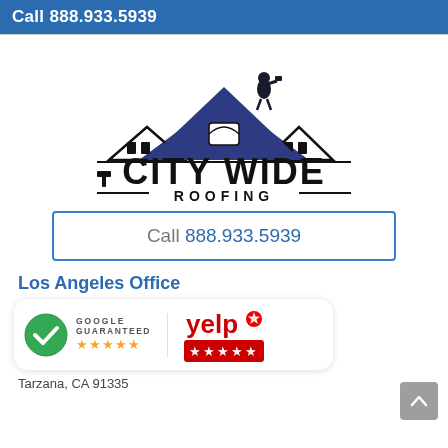Call 888.933.5939
[Figure (logo): City Wide Roofing logo: silhouette of houses with blue roof and a roofer on top, with bold text CITY WIDE ROOFING below]
Call 888.933.5939
Los Angeles Office
[Figure (other): Google Guaranteed badge with green checkmark and 5 orange stars, and Yelp badge with red stars]
Tarzana, CA 91335